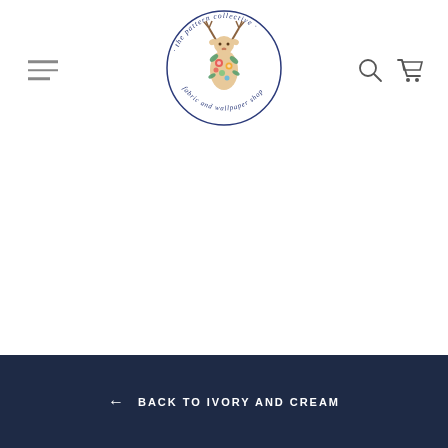[Figure (logo): The Pattern Collective - fabric and wallpaper shop circular logo with a deer decorated with flowers and foliage in the center, navy blue circular text border]
← BACK TO IVORY AND CREAM